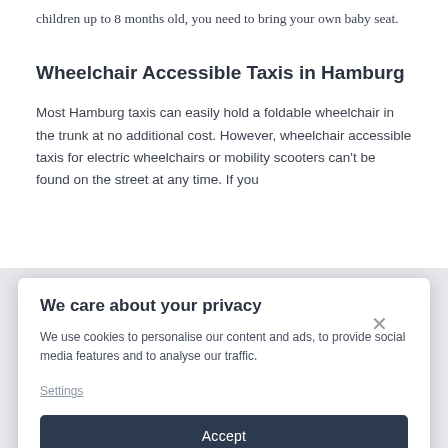children up to 8 months old, you need to bring your own baby seat.
Wheelchair Accessible Taxis in Hamburg
Most Hamburg taxis can easily hold a foldable wheelchair in the trunk at no additional cost. However, wheelchair accessible taxis for electric wheelchairs or mobility scooters can't be found on the street at any time. If you
We care about your privacy
We use cookies to personalise our content and ads, to provide social media features and to analyse our traffic.
Settings
Accept